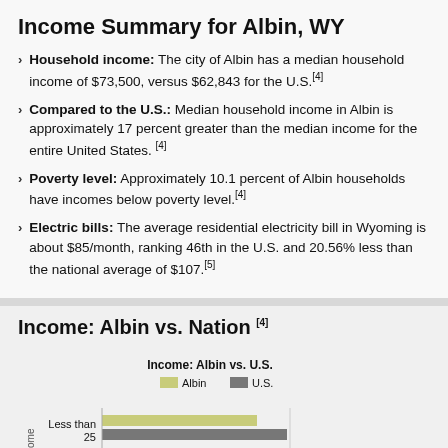Income Summary for Albin, WY
Household income: The city of Albin has a median household income of $73,500, versus $62,843 for the U.S.[4]
Compared to the U.S.: Median household income in Albin is approximately 17 percent greater than the median income for the entire United States.[4]
Poverty level: Approximately 10.1 percent of Albin households have incomes below poverty level.[4]
Electric bills: The average residential electricity bill in Wyoming is about $85/month, ranking 46th in the U.S. and 20.56% less than the national average of $107.[5]
Income: Albin vs. Nation [4]
[Figure (grouped-bar-chart): Partial grouped bar chart showing income brackets for Albin vs U.S., cut off at bottom of page]